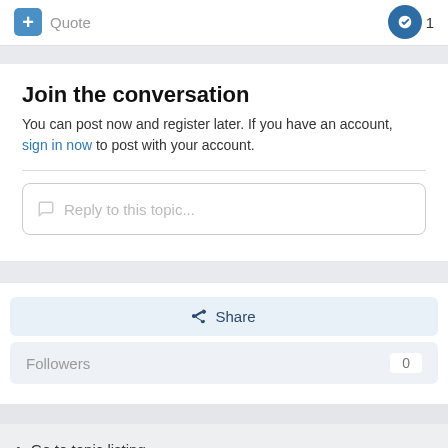Quote | 1
Join the conversation
You can post now and register later. If you have an account, sign in now to post with your account.
Reply to this topic...
Share
Followers 0
Go to topic listing